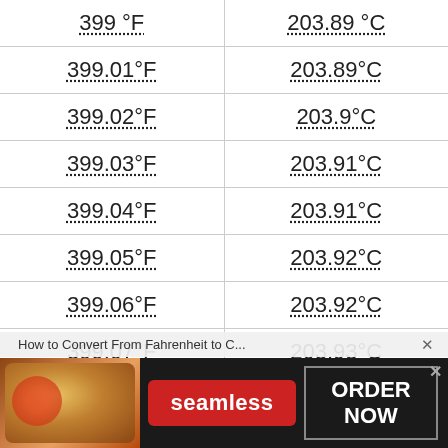| °F | °C |
| --- | --- |
| 399 °F | 203.89 °C |
| 399.01 °F | 203.89 °C |
| 399.02 °F | 203.9 °C |
| 399.03 °F | 203.91 °C |
| 399.04 °F | 203.91 °C |
| 399.05 °F | 203.92 °C |
| 399.06 °F | 203.92 °C |
| 399.07 °F | 203.93 °C |
| 399.08 °F | 203.93 °C |
How to Convert From Fahrenheit to C...
[Figure (infographic): Seamless food delivery advertisement banner with pizza image, Seamless logo button, and ORDER NOW button]